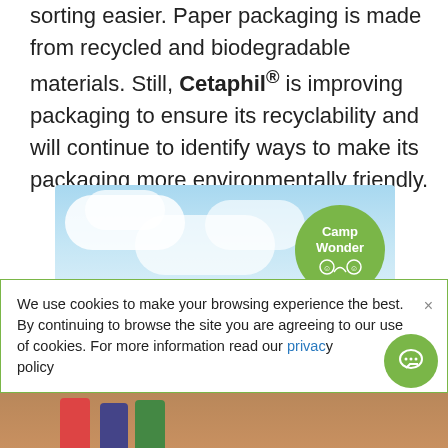sorting easier. Paper packaging is made from recycled and biodegradable materials. Still, Cetaphil® is improving packaging to ensure its recyclability and will continue to identify ways to make its packaging more environmentally friendly.
[Figure (photo): Outdoor sky scene with blue sky and clouds, featuring a green circular 'Camp Wonder' badge/logo on the right side]
We use cookies to make your browsing experience the best. By continuing to browse the site you are agreeing to our use of cookies. For more information read our privacy policy
[Figure (photo): Bottom strip showing people outdoors, partial view]